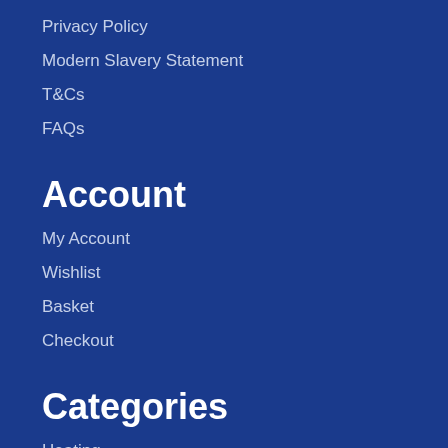Privacy Policy
Modern Slavery Statement
T&Cs
FAQs
Account
My Account
Wishlist
Basket
Checkout
Categories
Heating
Plumbing
Tools & Consumables